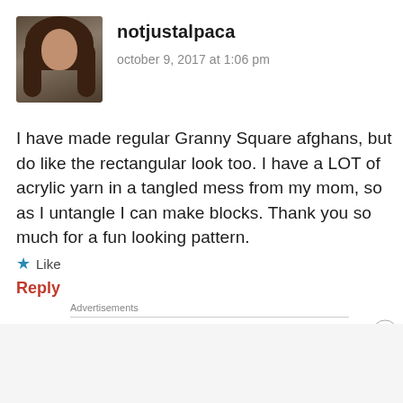[Figure (photo): Profile photo of a woman with long brown hair sitting in a car]
notjustalpaca
october 9, 2017 at 1:06 pm
I have made regular Granny Square afghans, but do like the rectangular look too. I have a LOT of acrylic yarn in a tangled mess from my mom, so as I untangle I can make blocks. Thank you so much for a fun looking pattern.
★ Like
Reply
Advertisements
[Figure (screenshot): Partially visible advertisement text (AUTOMATTIC or similar)]
Advertisements
[Figure (photo): Seamless food delivery advertisement banner with pizza image, seamless logo in red, and ORDER NOW button]